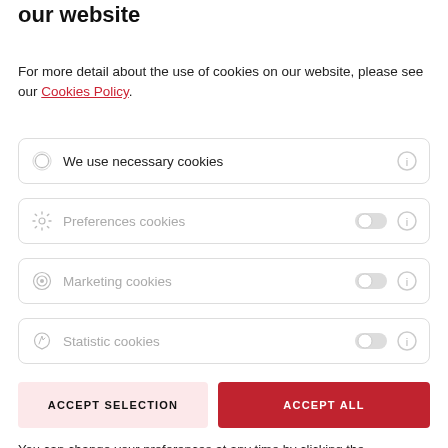We would like to use cookies to improve our website
For more detail about the use of cookies on our website, please see our Cookies Policy.
We use necessary cookies
Preferences cookies
Marketing cookies
Statistic cookies
ACCEPT SELECTION
ACCEPT ALL
You can change your preferences at any time by clicking the